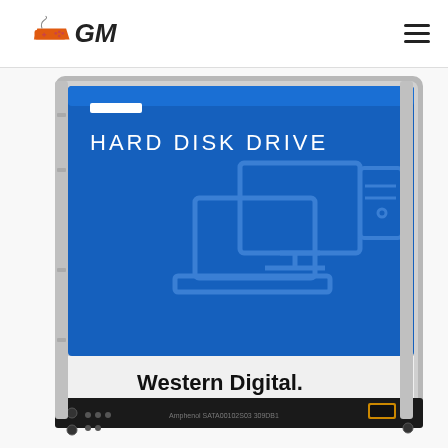GM (gaming/electronics retailer logo with hamburger menu)
[Figure (photo): Western Digital Hard Disk Drive - a 2.5-inch HDD with blue label reading 'HARD DISK DRIVE' with computer/monitor icons, Western Digital branding at bottom, showing the drive's metal frame and SATA connector at the bottom edge. Text on connector area: 'Amphenol SATA00102S03 309DB1']